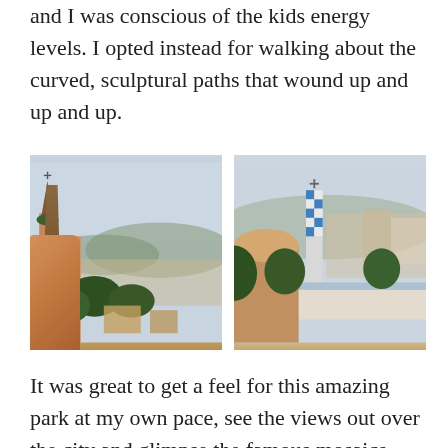and I was conscious of the kids energy levels. I opted instead for walking about the curved, sculptural paths that wound up and up and up.
[Figure (photo): Left photo: View from Park Güell showing a spire/tower of a Gaudí building in the foreground with Barcelona cityscape and hills in the background.]
[Figure (photo): Right photo: View of Park Güell's famous mosaic terrace and gingerbread-style structures with a cross-topped tower and Barcelona buildings behind.]
It was great to get a feel for this amazing park at my own pace, see the views out over the city and glimpse the famous mosaics. When I got back the